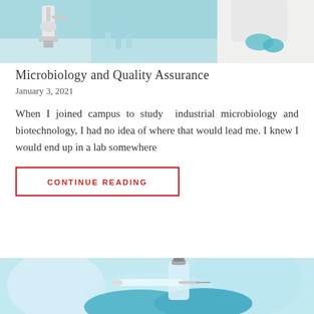[Figure (photo): Laboratory scene with a microscope and researcher in white lab coat working with samples]
Microbiology and Quality Assurance
January 3, 2021
When I joined campus to study  industrial microbiology and biotechnology, I had no idea of where that would lead me. I knew I would end up in a lab somewhere
CONTINUE READING
[Figure (photo): Close-up of gloved hands handling a syringe and vial in a medical/laboratory setting]